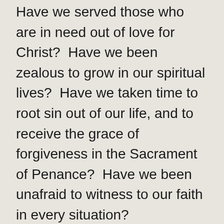Have we served those who are in need out of love for Christ?  Have we been zealous to grow in our spiritual lives?  Have we taken time to root sin out of our life, and to receive the grace of forgiveness in the Sacrament of Penance?  Have we been unafraid to witness to our faith in every situation?
If we can't answer all these questions affirmatively, we have some new-Church-year's resolutions to make.  Because, and I can't stress this strongly enough, brothers and sisters, the alternative is wailing and grinding